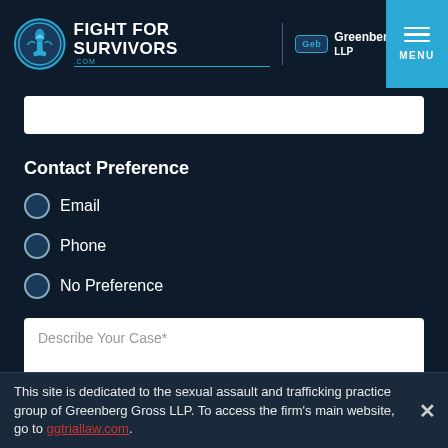[Figure (logo): Fight For Survivors logo with circular emblem and Greenberg Gross LLP co-branding, plus MENU button]
Contact Preference
Email
Phone
No Preference
Describe Your Case*
This site is dedicated to the sexual assault and trafficking practice group of Greenberg Gross LLP. To access the firm's main website, go to ggtrial law.com.